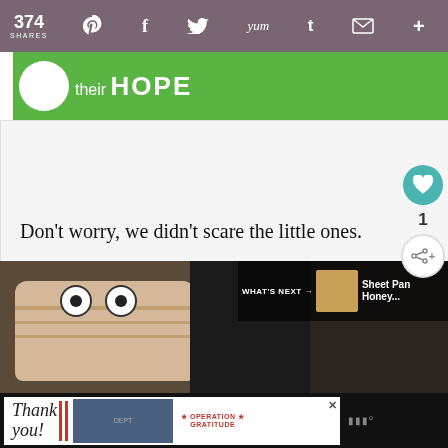374 SHARES | social share icons: Pinterest, Facebook, Twitter, Yummly, Tumblr, Email, Plus
[Figure (screenshot): Green advertisement banner showing a white circle and text 'their HOPE']
[Figure (screenshot): Large white advertisement area placeholder]
Don't worry, we didn't scare the little ones.
But teenagers were fair game!
[Figure (photo): Food photo strip showing mummy bread rolls with googly eyes and dark baking pans. A 'WHAT'S NEXT' overlay shows a thumbnail for 'Sheet Pan Honey...']
[Figure (screenshot): Bottom advertisement banner: 'Thank you!' handwritten text with American flag imagery and Operation Gratitude logo with firefighters photo]